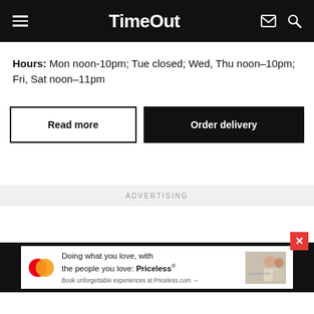TimeOut
Hours: Mon noon-10pm; Tue closed; Wed, Thu noon–10pm; Fri, Sat noon–11pm
Read more | Order delivery
ADVERTISING
[Figure (other): Advertisement banner: Mastercard Priceless campaign. Text reads: Doing what you love, with the people you love: Priceless. Book unforgettable experiences at Priceless.com]